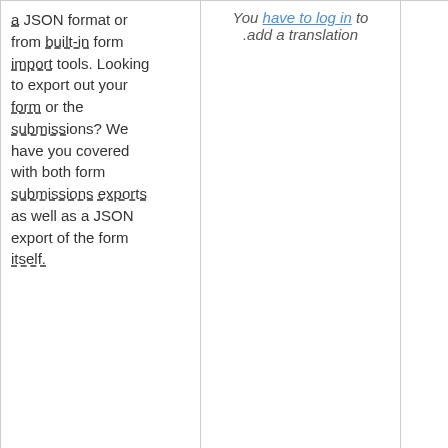| a JSON format or from built-in form import tools. Looking to export out your form or the submissions? We have you covered with both form submissions exports as well as a JSON export of the form itself. | You have to log in to .add a translation |  |
| While building a form with weForms custom field, anyone, even those without any prior coding knowledge |  | Details |